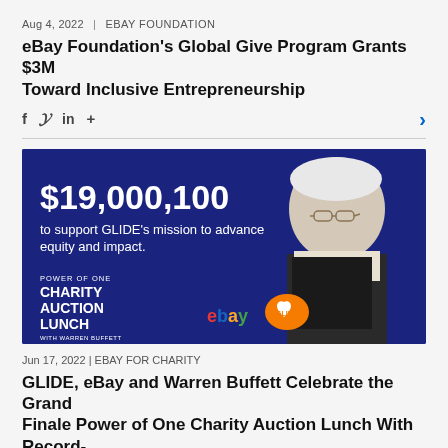Aug 4, 2022  |  EBAY FOUNDATION
eBay Foundation's Global Give Program Grants $3M Toward Inclusive Entrepreneurship
f  [twitter]  in  +  >
[Figure (photo): Dark blue banner image for eBay Power of One Charity Auction Lunch with Warren Buffett. Large white text reads '$19,000,100 to support GLIDE's mission to advance equity and impact.' Bottom left text reads 'POWER OF ONE CHARITY AUCTION LUNCH WITH WARREN BUFFETT'. Bottom center shows eBay and GLIDE logos. Right side shows photo of Warren Buffett smiling, wearing glasses and a dark suit with tie.]
Jun 17, 2022  |  EBAY FOR CHARITY
GLIDE, eBay and Warren Buffett Celebrate the Grand Finale Power of One Charity Auction Lunch With Record-